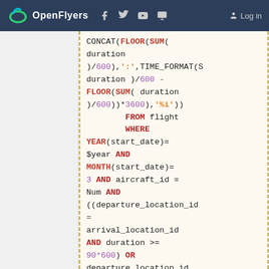OpenFlyers — Log in
Code block showing SQL query with CONCAT, FLOOR, SUM, TIME_FORMAT, FROM flight, WHERE, YEAR, MONTH, AND, OR conditions, AS Mars, SELECT, CONCAT(FLOOR(SUM( at bottom